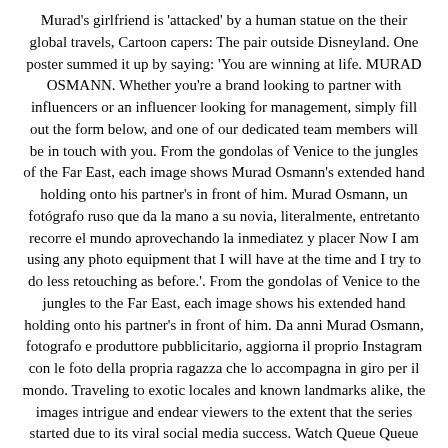Murad's girlfriend is 'attacked' by a human statue on the their global travels, Cartoon capers: The pair outside Disneyland. One poster summed it up by saying: 'You are winning at life. MURAD OSMANN. Whether you're a brand looking to partner with influencers or an influencer looking for management, simply fill out the form below, and one of our dedicated team members will be in touch with you. From the gondolas of Venice to the jungles of the Far East, each image shows Murad Osmann's extended hand holding onto his partner's in front of him. Murad Osmann, un fotógrafo ruso que da la mano a su novia, literalmente, entretanto recorre el mundo aprovechando la inmediatez y placer Now I am using any photo equipment that I will have at the time and I try to do less retouching as before.'. From the gondolas of Venice to the jungles to the Far East, each image shows his extended hand holding onto his partner's in front of him. Da anni Murad Osmann, fotografo e produttore pubblicitario, aggiorna il proprio Instagram con le foto della propria ragazza che lo accompagna in giro per il mondo. Traveling to exotic locales and known landmarks alike, the images intrigue and endear viewers to the extent that the series started due to its viral social media success. Watch Queue Queue Murad Osmann, un fotógrafo ruso que da la mano a su novia, literalmente, entretanto recorre el mundo aprovechando la inmediatez y placer #Belleza para compartir. We are no longer accepting comments on this article. But she is seen in a variety of outfits from hoodies to dresses and bikinis to barely anything at all